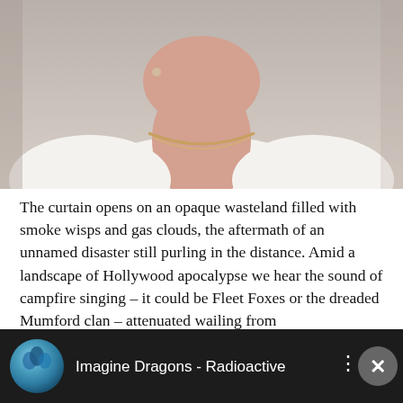[Figure (photo): Close-up photo of a person wearing a white sleeveless top and gold necklace, chin and neck visible]
The curtain opens on an opaque wasteland filled with smoke wisps and gas clouds, the aftermath of an unnamed disaster still purling in the distance. Amid a landscape of Hollywood apocalypse we hear the sound of campfire singing – it could be Fleet Foxes or the dreaded Mumford clan – attenuated wailing from then somethi die, and like venomous sy dubstep dru about coming lyric about be I feel it in my Welcome to t...
Support tQ! Become a subscriber & get access to exclusive essays, podcasts and music
SUBSCRIBE TO TQ
[Figure (screenshot): Video player bar at bottom showing 'Imagine Dragons - Radioactive' with thumbnail, three-dot menu and close button]